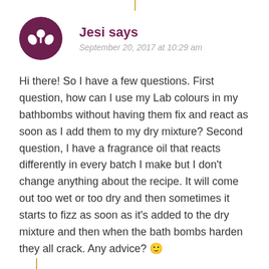Jesi says
September 20, 2017 at 10:29 am
Hi there! So I have a few questions. First question, how can I use my Lab colours in my bathbombs without having them fix and react as soon as I add them to my dry mixture? Second question, I have a fragrance oil that reacts differently in every batch I make but I don't change anything about the recipe. It will come out too wet or too dry and then sometimes it starts to fizz as soon as it's added to the dry mixture and then when the bath bombs harden they all crack. Any advice? 🙂